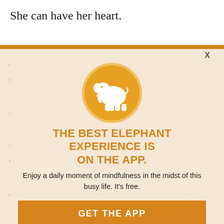She can have her heart.
[Figure (logo): Elephant Journal app logo: white elephant silhouette on orange circle with lighter orange border]
THE BEST ELEPHANT EXPERIENCE IS ON THE APP.
Enjoy a daily moment of mindfulness in the midst of this busy life. It's free.
GET THE APP
OPEN IN APP